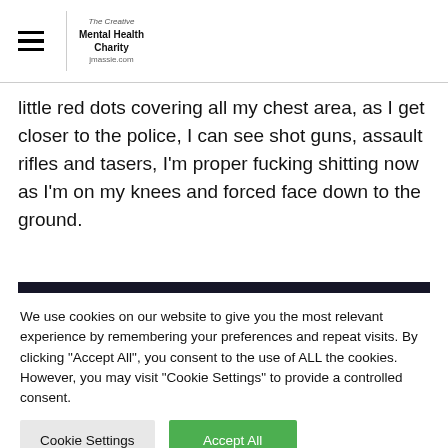The Creative Mental Health Charity jmassie.com
little red dots covering all my chest area, as I get closer to the police, I can see shot guns, assault rifles and tasers, I'm proper fucking shitting now as I'm on my knees and forced face down to the ground.
[Figure (photo): A blurry dark nighttime photograph showing indistinct figures, with green and dark tones.]
We use cookies on our website to give you the most relevant experience by remembering your preferences and repeat visits. By clicking "Accept All", you consent to the use of ALL the cookies. However, you may visit "Cookie Settings" to provide a controlled consent.